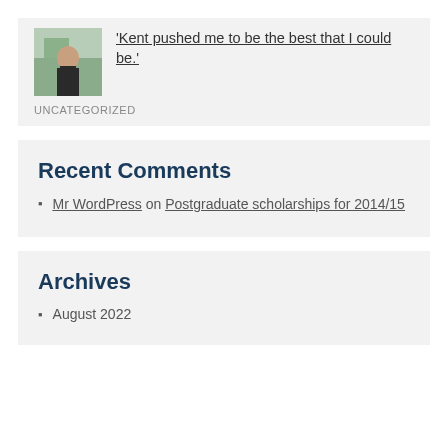[Figure (photo): Thumbnail photo of a person sitting at a desk, outdoors/indoor scene with greenery]
‘Kent pushed me to be the best that I could be.’
UNCATEGORIZED
Recent Comments
Mr WordPress on Postgraduate scholarships for 2014/15
Archives
August 2022